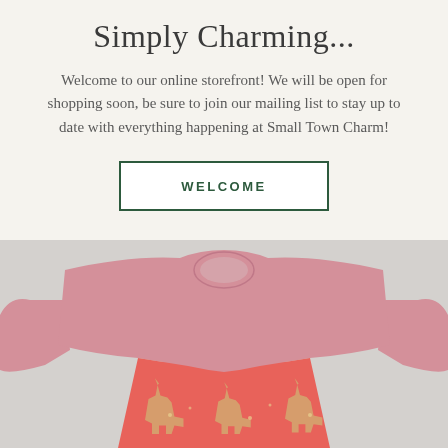Simply Charming...
Welcome to our online storefront! We will be open for shopping soon, be sure to join our mailing list to stay up to date with everything happening at Small Town Charm!
WELCOME
[Figure (photo): A pink children's dress with a solid pink top portion and a coral/pink skirt with golden unicorn print pattern, photographed on a light gray background.]